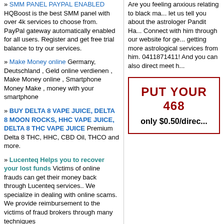» SMM PANEL PAYPAL ENABLED HQBoost is the best SMM panel with over 4k services to choose from. PayPal gateway automatically enabled for all users. Register and get free trial balance to try our services.
» Make Money online Germany, Deutschland , Geld online verdienen , Make Money online , Smartphone Money Make , money with your smartphone
» BUY DELTA 8 VAPE JUICE, DELTA 8 MOON ROCKS, HHC VAPE JUICE, DELTA 8 THC VAPE JUICE Premium Delta 8 THC, HHC, CBD Oil, THCO and more.
» Lucenteq Helps you to recover your lost funds Victims of online frauds can get their money back through Lucenteq services.. We specialize in dealing with online scams. We provide reimbursement to the victims of fraud brokers through many techniques
» London Escorts London Escort Agency Girls Near By Outcall Female Escorts Cheap Local Escorts
» smm panel SMMWEBS is an SMM PANEL company that provides a service that helps you access hundreds of SMM websites to promote your business online. Boost Your SMM Panel FREE 2022
Are you feeling anxious relating to black magic let us tell you about the astrologer Pandit Ha... Connect with him through our website for ge... getting more astrological services from him. 0411871411! And you can also direct meet h...
[Figure (other): Advertisement box with bold dark red text reading PUT YOUR 468 and below only $0.50/direc...]